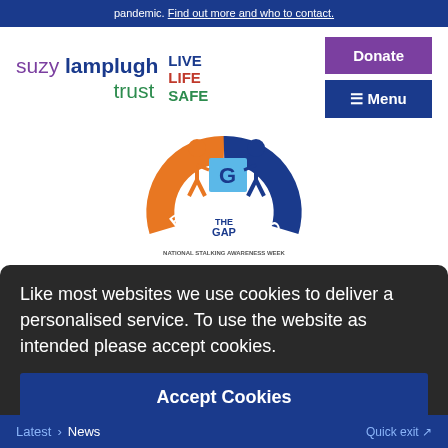pandemic. Find out more and who to contact.
[Figure (logo): Suzy Lamplugh Trust logo with 'LIVE LIFE SAFE' tagline, Donate button, and Menu button]
[Figure (logo): BRIDGING THE GAP - National Stalking Awareness Week logo with two figures (orange and dark blue) holding a blue panel]
Like most websites we use cookies to deliver a personalised service. To use the website as intended please accept cookies.
Accept Cookies
Latest > News  Quick exit